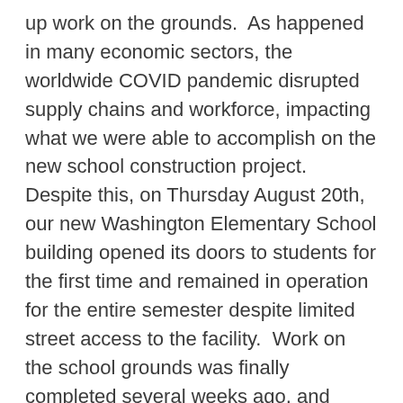up work on the grounds.  As happened in many economic sectors, the worldwide COVID pandemic disrupted supply chains and workforce, impacting what we were able to accomplish on the new school construction project. Despite this, on Thursday August 20th, our new Washington Elementary School building opened its doors to students for the first time and remained in operation for the entire semester despite limited street access to the facility.  Work on the school grounds was finally completed several weeks ago, and though there are still some punch list items to address throughout the facility, we are happy to report Washington Elementary has been substantially completed. This means when staff, students, and parents arrive for the spring 2021 semester, they will have access to all parking lots and entrances.  Most exciting, some very patient